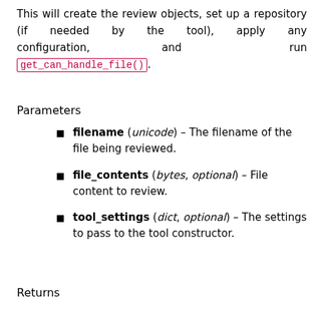This will create the review objects, set up a repository (if needed by the tool), apply any configuration, and run get_can_handle_file().
Parameters
filename (unicode) – The filename of the file being reviewed.
file_contents (bytes, optional) – File content to review.
tool_settings (dict, optional) – The settings to pass to the tool constructor.
Returns